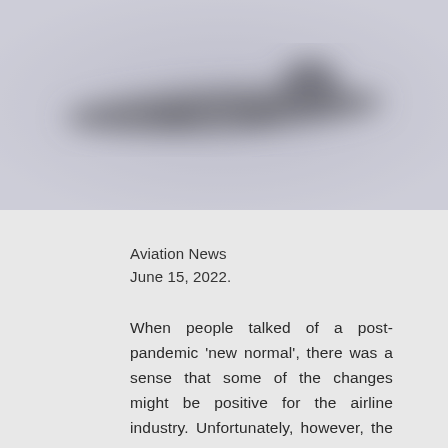[Figure (photo): Blurred aerial photo of an aircraft in flight, shot from above against a pale grey-blue sky. The plane is barely visible through the blur.]
Aviation News
June 15, 2022.
When people talked of a post-pandemic ‘new normal’, there was a sense that some of the changes might be positive for the airline industry. Unfortunately, however, the operational issues being seen in several markets are threatening to define the sector’s